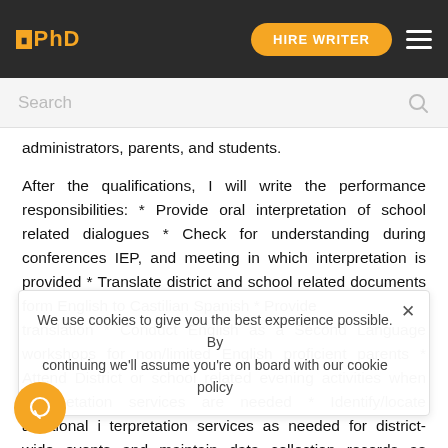PhD — HIRE WRITER
administrators, parents, and students.
After the qualifications, I will write the performance responsibilities: * Provide oral interpretation of school related dialogues * Check for understanding during conferences IEP, and meeting in which interpretation is provided * Translate district and school related documents form English to Castilian Spanish * Provide translation * Conduct English as a Second Language workshops for non/limited English proficient parents * Attend District or school related evening activities when interpretation services are needed * Identify/locate additional interpretation services as needed for district-wide events and maintain data collection records as remind
We use cookies to give you the best experience possible. By continuing we'll assume you're on board with our cookie policy